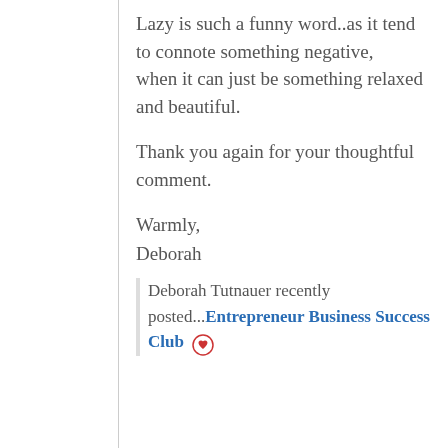Lazy is such a funny word..as it tend to connote something negative,
when it can just be something relaxed and beautiful.
Thank you again for your thoughtful comment.
Warmly,
Deborah
Deborah Tutnauer recently posted...Entrepreneur Business Success Club